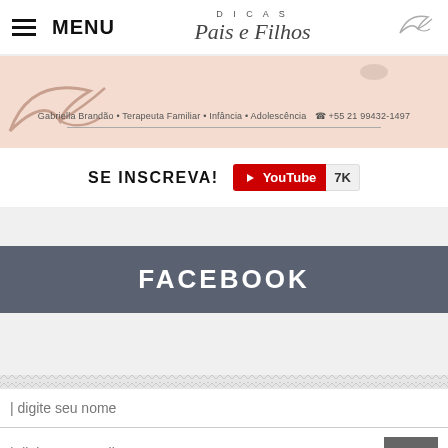≡ MENU | DICAS Pais e Filhos
[Figure (illustration): Peach banner with bird illustration and text: Gabriella Brandão • Terapeuta Familiar • Infância • Adolescência ☎ +55 21 99432-1497]
SE INSCREVA! YouTube 7K
FACEBOOK
| digite seu nome
| digite seu email